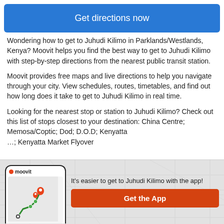Get directions now
Wondering how to get to Juhudi Kilimo in Parklands/Westlands, Kenya? Moovit helps you find the best way to get to Juhudi Kilimo with step-by-step directions from the nearest public transit station.
Moovit provides free maps and live directions to help you navigate through your city. View schedules, routes, timetables, and find out how long does it take to get to Juhudi Kilimo in real time.
Looking for the nearest stop or station to Juhudi Kilimo? Check out this list of stops closest to your destination: China Centre; Memosa/Coptic; Dod; D.O.D; Kenyatta …; Kenyatta Market Flyover
[Figure (screenshot): Moovit app screenshot showing a map with a green route and location pins.]
It's easier to get to Juhudi Kilimo with the app!
Get the App